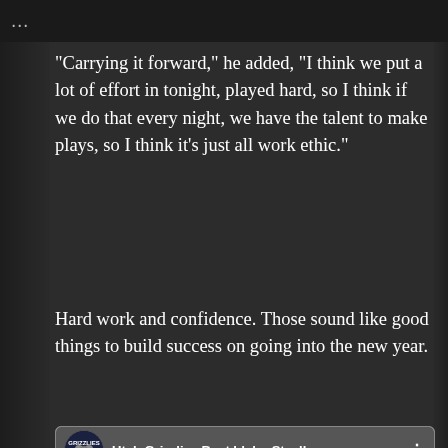“Carrying it forward,” he added, “I think we put a lot of effort in tonight, played hard, so I think if we do that every night, we have the talent to make plays, so I think it’s just all work ethic.”
Hard work and confidence. Those sound like good things to build success on going into the new year.
[Figure (screenshot): YouTube video embed thumbnail showing two hockey players on ice rink. Video title: 'Utah Grizzlies Beat Idaho Steelhe...' with channel logo (Utah Grizzlies). Red YouTube play button in center.]